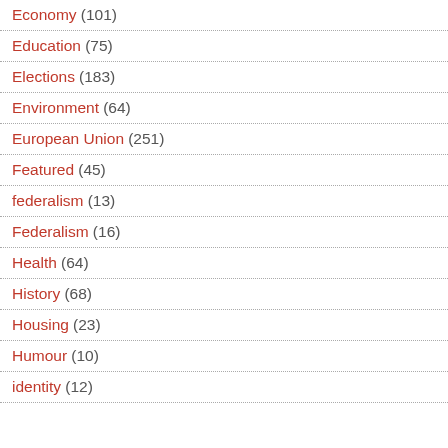Economy (101)
Education (75)
Elections (183)
Environment (64)
European Union (251)
Featured (45)
federalism (13)
Federalism (16)
Health (64)
History (68)
Housing (23)
Humour (10)
identity (12)